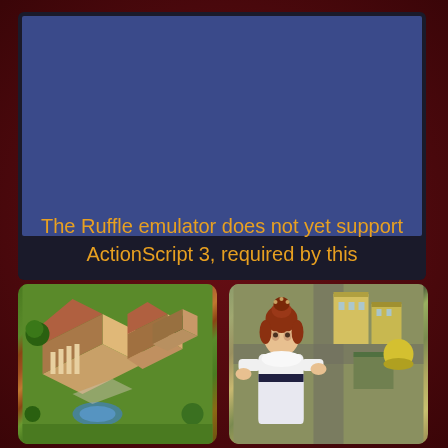[Figure (screenshot): Flash/game emulator panel with dark background showing blue screen area and error message in orange: 'The Ruffle emulator does not yet support ActionScript 3, required by this']
The Ruffle emulator does not yet support ActionScript 3, required by this
[Figure (screenshot): Isometric view of a Roman/medieval city with terracotta-roofed buildings, green trees, and stone structures]
[Figure (screenshot): Animated female character with red updo hair in period dress, with futuristic/modern city in background with yellow buildings and roads]